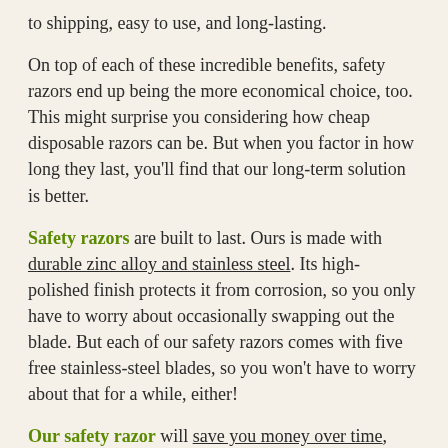to shipping, easy to use, and long-lasting.
On top of each of these incredible benefits, safety razors end up being the more economical choice, too. This might surprise you considering how cheap disposable razors can be. But when you factor in how long they last, you'll find that our long-term solution is better.
Safety razors are built to last. Ours is made with durable zinc alloy and stainless steel. Its high-polished finish protects it from corrosion, so you only have to worry about occasionally swapping out the blade. But each of our safety razors comes with five free stainless-steel blades, so you won't have to worry about that for a while, either!
Our safety razor will save you money over time, won't damage the environment, and will give you the closest and smoothest shave of your life, all while cutting down on common and annoying skin irritations.